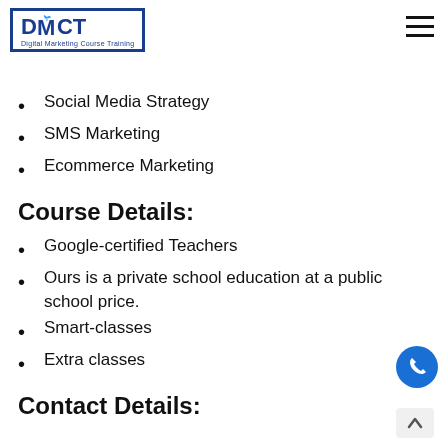[Figure (logo): DMCT Digital Marketing Course Training logo with blue border and bird icon]
Social Media Strategy
SMS Marketing
Ecommerce Marketing
Course Details:
Google-certified Teachers
Ours is a private school education at a public school price.
Smart-classes
Extra classes
Contact Details: